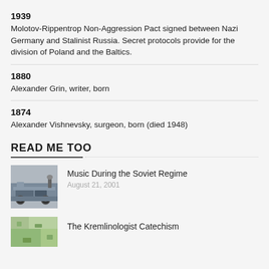1939
Molotov-Rippentrop Non-Aggression Pact signed between Nazi Germany and Stalinist Russia. Secret protocols provide for the division of Poland and the Baltics.
1880
Alexander Grin, writer, born
1874
Alexander Vishnevsky, surgeon, born (died 1948)
READ ME TOO
[Figure (photo): Old steam locomotive photograph]
Music During the Soviet Regime
August 21, 2001
[Figure (photo): Green map or aerial photo]
The Kremlinologist Catechism